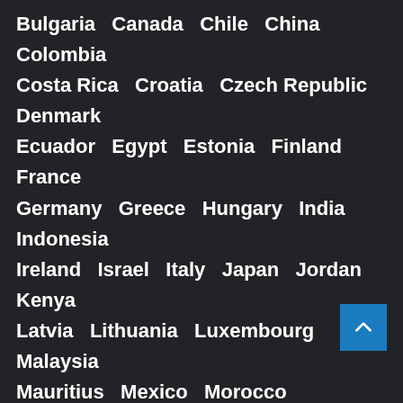Bulgaria   Canada   Chile   China   Colombia   Costa Rica   Croatia   Czech Republic   Denmark   Ecuador   Egypt   Estonia   Finland   France   Germany   Greece   Hungary   India   Indonesia   Ireland   Israel   Italy   Japan   Jordan   Kenya   Latvia   Lithuania   Luxembourg   Malaysia   Mauritius   Mexico   Morocco   Netherlands   New Zealand   Norway   Pakistan   Panama   Paraguay   Philippines   Poland   Portugal   Romania   Russia   Saudi Arabia   Serbia   Singapore   South Africa   South Korea   Spain   Sweden   Switzerland   Taiwan   Thailand   Turkey   Ukraine   United Arab Emirates   United Kingdom   United States   Uruguay   Venezuela   Vietnam